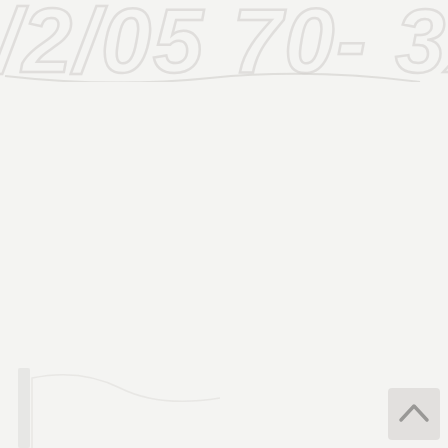[Figure (logo): Large faint watermark-style text/logo in light gray at the top of the page, partially cut off]
[Figure (other): Small scroll-to-top button in the bottom right corner, light gray rounded square with an upward chevron arrow icon]
[Figure (other): Partial decorative element or graphic in the bottom left corner, very faint]